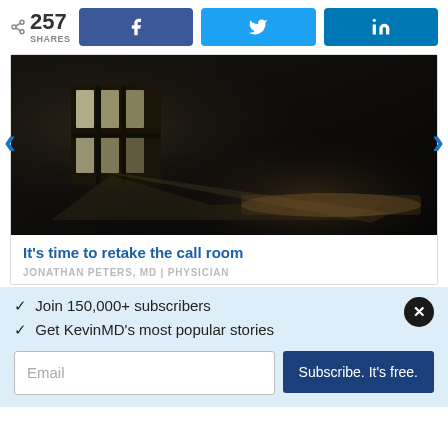257 SHARES
[Figure (screenshot): Social sharing buttons for Facebook, Twitter, and LinkedIn]
[Figure (photo): Dark prison-like room with barred window casting light on a small bed/cot]
It's time to retake the call room
JONATHAN PETERS, MD | PHYSICIAN
✓ Join 150,000+ subscribers
✓ Get KevinMD's most popular stories
Email
Subscribe. It's free.